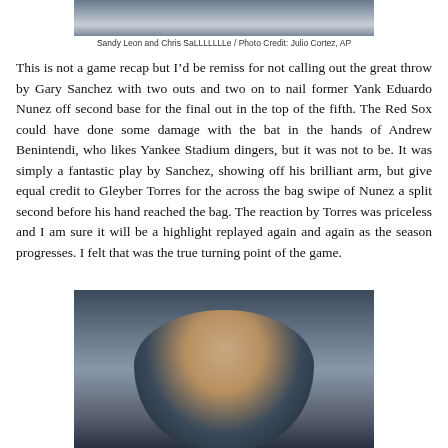[Figure (photo): Top portion of a photo showing Sandy Leon and Chris Sale]
Sandy Leon and Chris SaLLLLLLLe / Photo Credit: Julio Cortez, AP
This is not a game recap but I’d be remiss for not calling out the great throw by Gary Sanchez with two outs and two on to nail former Yank Eduardo Nunez off second base for the final out in the top of the fifth. The Red Sox could have done some damage with the bat in the hands of Andrew Benintendi, who likes Yankee Stadium dingers, but it was not to be. It was simply a fantastic play by Sanchez, showing off his brilliant arm, but give equal credit to Gleyber Torres for the across the bag swipe of Nunez a split second before his hand reached the bag. The reaction by Torres was priceless and I am sure it will be a highlight replayed again and again as the season progresses. I felt that was the true turning point of the game.
[Figure (photo): Photo of a baseball catcher (Gary Sanchez) in Yankees uniform with chest protector and mitt]